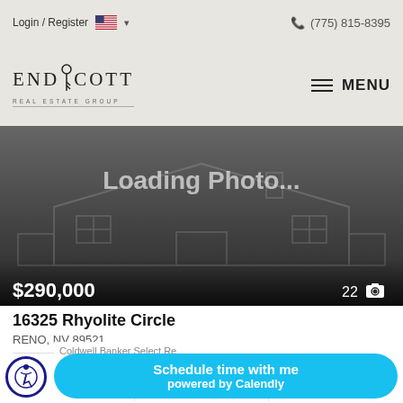Login / Register | (775) 815-8395
[Figure (logo): Endicott Real Estate Group logo with key icon]
[Figure (photo): Loading Photo... placeholder image with house outline graphic, price $290,000, 22 photos]
16325 Rhyolite Circle
RENO, NV 89521
2 Beds | 2 Baths | 1,400 Sq.Ft.
Coldwell Banker Select Re...
Schedule time with me powered by Calendly